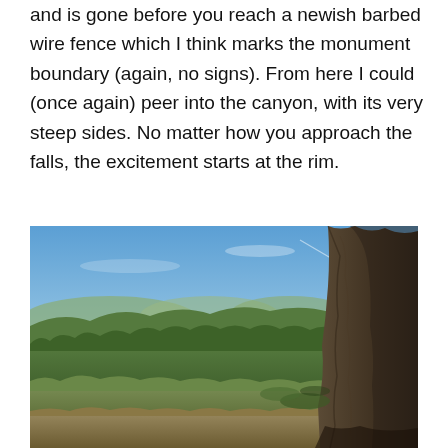and is gone before you reach a newish barbed wire fence which I think marks the monument boundary (again, no signs). From here I could (once again) peer into the canyon, with its very steep sides. No matter how you approach the falls, the excitement starts at the rim.
[Figure (photo): Outdoor landscape photo showing a canyon rim view with steep rocky cliffs on the right side, dense green forest and trees in the middle ground, rolling hills in the background, and a blue sky with light clouds above. The foreground shows dry vegetation and rocky terrain typical of a western US monument or park setting.]